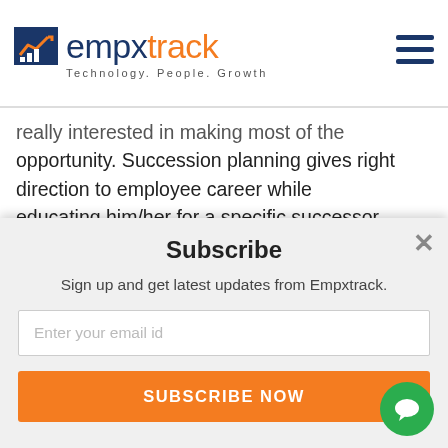empxtrack — Technology. People. Growth
really interested in making most of this opportunity. Succession planning gives right direction to employee career while educating him/her for a specific successor role.
Encourage employee engagement:
[Figure (infographic): Teal popup in top-right: Use Empxtrack Appraisal for Free, with a close (x) button]
Subscribe
Sign up and get latest updates from Empxtrack.
Enter your email id
SUBSCRIBE NOW